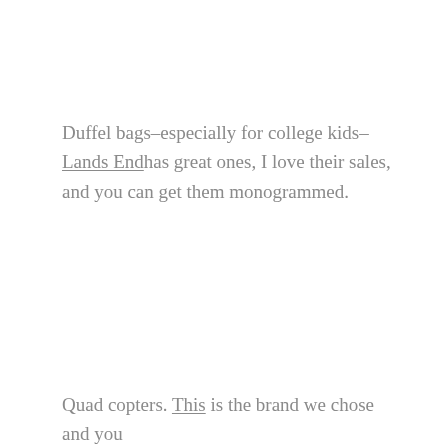Duffel bags–especially for college kids–Lands Endhas great ones, I love their sales, and you can get them monogrammed.
Quad copters. This is the brand we chose and you